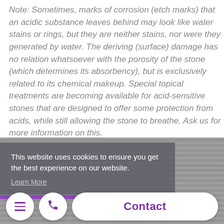Note: Sometimes, marks of corrosion (etch marks) that an acidic substance leaves behind may look like water stains or rings, but they are neither stains, nor were they generated by water. The deriving (surface) damage has no relation whatsoever with the porosity of the stone (which determines its absorbency), but is exclusively related to its chemical makeup. Special topical treatments are becoming available for acid-sensitive stones that are designed to offer some protection from acids, while still allowing the stone to breathe. Ask us for more information on this.
[Figure (photo): Background photo of stone/tile surfaces with purple lighting accent, partially obscured by cookie consent overlay]
This website uses cookies to ensure you get the best experience on our website. Learn More